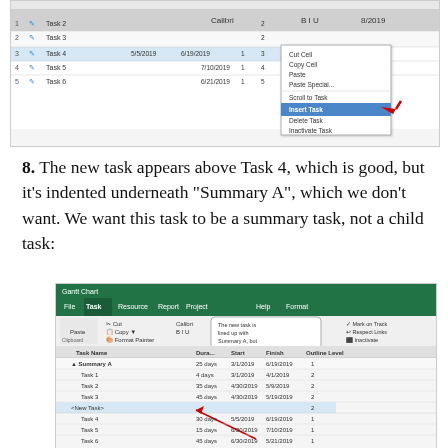[Figure (screenshot): Screenshot of Microsoft Project showing a right-click context menu with 'Insert Task' highlighted, with a red arrow pointing to 'Insert Task' option. The task list shows Task 2 through Task 6 with dates.]
8. The new task appears above Task 4, which is good, but it's indented underneath "Summary A", which we don't want. We want this task to be a summary task, not a child task:
[Figure (screenshot): Screenshot of Microsoft Project Gantt chart showing Summary A with Tasks 1-3, then a <New Task> row inserted above Task 4, and Tasks 4-6 listed below. A speech bubble tooltip says 'The new task is lined up with Summary A, but we don't want it to be.' A red arrow points to the new task row.]